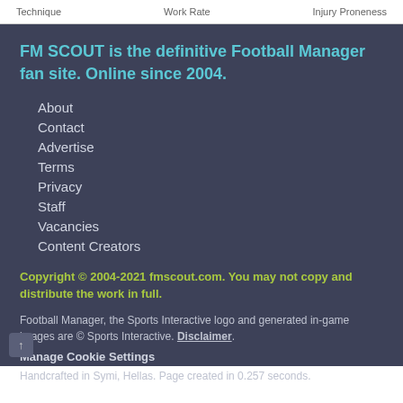Technique    Work Rate    Injury Proneness
FM SCOUT is the definitive Football Manager fan site. Online since 2004.
About
Contact
Advertise
Terms
Privacy
Staff
Vacancies
Content Creators
Copyright © 2004-2021 fmscout.com. You may not copy and distribute the work in full.
Football Manager, the Sports Interactive logo and generated in-game images are © Sports Interactive. Disclaimer.
Manage Cookie Settings
Handcrafted in Symi, Hellas. Page created in 0.257 seconds.